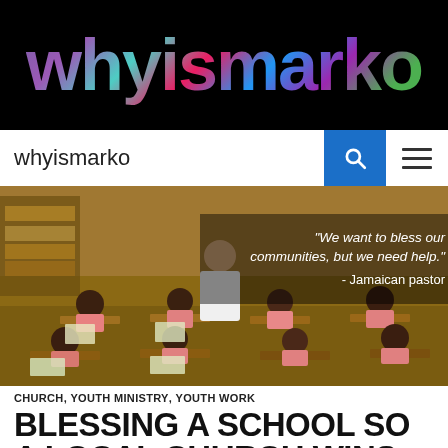whyismarko
whyismarko
[Figure (photo): Classroom full of children in pink uniforms sitting at desks with a teacher standing, overlaid with quote: "We want to bless our communities, but we need help." - Jamaican pastor]
CHURCH, YOUTH MINISTRY, YOUTH WORK
BLESSING A SCHOOL SO A LOCAL CHURCH WINS